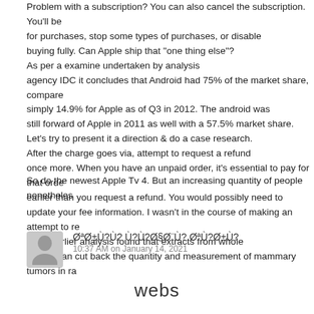Problem with a subscription? You can also cancel the subscription. You'll be asked for purchases, stop some types of purchases, or disable buying fully. Can Apple ship that "one thing else"? As per a examine undertaken by analysis agency IDC it concludes that Android had 75% of the market share, compared simply 14.9% for Apple as of Q3 in 2012. The android was still forward of Apple in 2011 as well with a 57.5% market share. Let's try to present it a direction & do a case research. After the charge goes via, attempt to request a refund once more. When you have an unpaid order, it's essential to pay for that order earlier than you request a refund. You would possibly need to update your fee information. I wasn't in the course of making an attempt to re. Their earlier analysis found that extracts from whole apples can cut back the quantity and measurement of mammary tumors in ra
So do the newest Apple Tv 4. But an increasing quantity of people nonetheles
ØªØ±Ù?Ù? Ù?Ù?Ø§Ø¨Ù? ØªÙ?Ø±Ù?
10:37 AM on January 14, 2021
webs